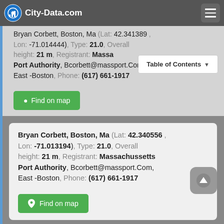City-Data.com
Bryan Corbett, Boston, Ma (Lat: 42.341389 , Lon: -71.014444), Type: 21.0, Overall height: 21 m, Registrant: Massachussetts Port Authority, Bcorbett@massport.Com, East -Boston, Phone: (617) 661-1917
Table of Contents
Bryan Corbett, Boston, Ma (Lat: 42.340556 , Lon: -71.013194), Type: 21.0, Overall height: 21 m, Registrant: Massachussetts Port Authority, Bcorbett@massport.Com, East -Boston, Phone: (617) 661-1917
JOSEPH BROOKS, 9 Gallivan Blvd (Lat: